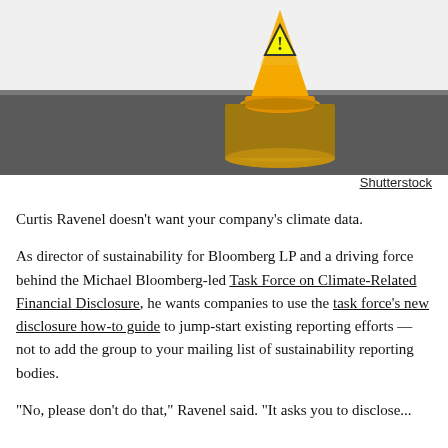[Figure (photo): A yellow traffic cone with an exclamation mark warning symbol balanced on top of a stack of gold coins, set against a dark textured surface. Photo by Shutterstock.]
Shutterstock
Curtis Ravenel doesn't want your company's climate data.
As director of sustainability for Bloomberg LP and a driving force behind the Michael Bloomberg-led Task Force on Climate-Related Financial Disclosure, he wants companies to use the task force's new disclosure how-to guide to jump-start existing reporting efforts — not to add the group to your mailing list of sustainability reporting bodies.
"No, please don't do that," Ravenel said. "It asks you to disclose..."